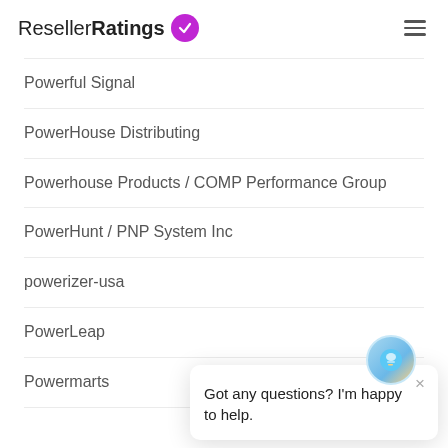ResellerRatings
Powerful Signal
PowerHouse Distributing
Powerhouse Products / COMP Performance Group
PowerHunt / PNP System Inc
powerizer-usa
PowerLeap
Powermarts
[Figure (screenshot): Chat widget popup with bot icon, close button (×), and message: Got any questions? I'm happy to help. A purple circular chat button appears at the bottom right.]